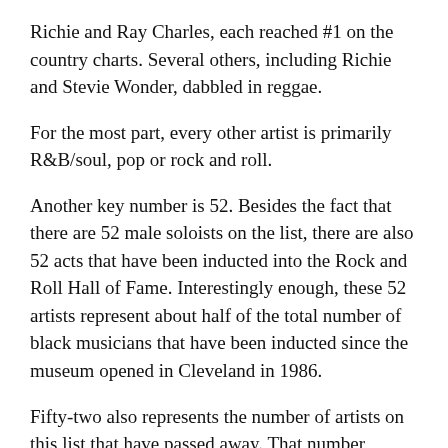Richie and Ray Charles, each reached #1 on the country charts.  Several others, including Richie and Stevie Wonder, dabbled in reggae.
For the most part, every other artist is primarily R&B/soul, pop or rock and roll.
Another key number is 52.  Besides the fact that there are 52 male soloists on the list, there are also 52 acts that have been inducted into the Rock and Roll Hall of Fame.  Interestingly enough, these 52 artists represent about half of the total number of black musicians that have been inducted since the museum opened in Cleveland in 1986.
Fifty-two also represents the number of artists on this list that have passed away.  That number includes groups who've lost key members over the years.  Sixteen of